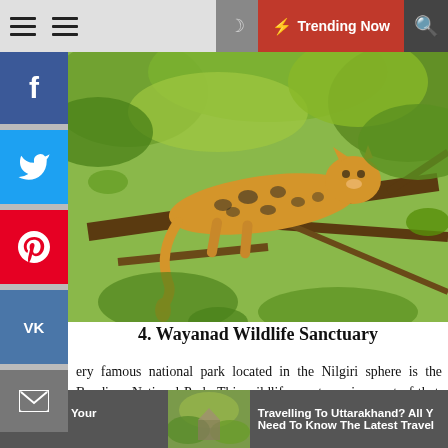Trending Now
[Figure (photo): Leopard resting on a tree branch surrounded by green foliage in a wildlife sanctuary]
4. Wayanad Wildlife Sanctuary
ery famous national park located in the Nilgiri sphere is the Bandipur National Park. This wildlife sanctuary is a part of that. Deciduous forests characterise large area of over 344 square kilometres and are sted with animals like leopards, elephants, tigers,
k For From Your ce Policy | Travelling To Uttarakhand? All Y Need To Know The Latest Travel